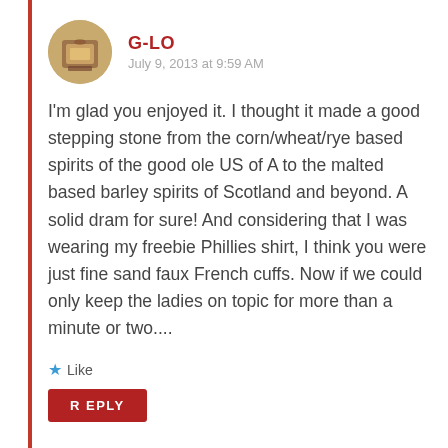G-LO
July 9, 2013 at 9:59 AM
I'm glad you enjoyed it. I thought it made a good stepping stone from the corn/wheat/rye based spirits of the good ole US of A to the malted based barley spirits of Scotland and beyond. A solid dram for sure! And considering that I was wearing my freebie Phillies shirt, I think you were just fine sand faux French cuffs. Now if we could only keep the ladies on topic for more than a minute or two....
Like
REPLY